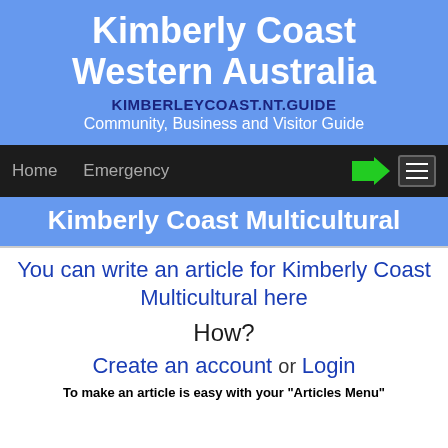Kimberly Coast Western Australia
KIMBERLEYCOAST.NT.GUIDE
Community, Business and Visitor Guide
Home   Emergency
Kimberly Coast Multicultural
You can write an article for Kimberly Coast Multicultural here
How?
Create an account or Login
To make an article is easy with your "Articles Menu"